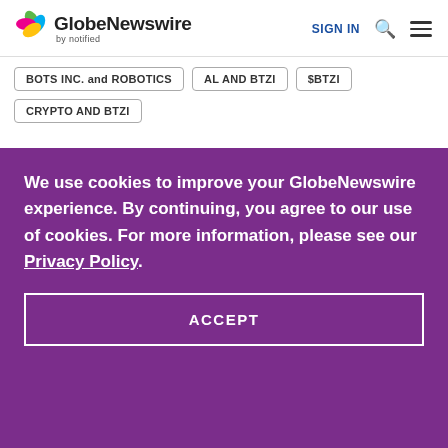[Figure (logo): GlobeNewswire by notified logo with colorful leaf/petals icon]
SIGN IN
BOTS INC. and ROBOTICS
AL AND BTZI
$BTZI
CRYPTO AND BTZI
We use cookies to improve your GlobeNewswire experience. By continuing, you agree to our use of cookies. For more information, please see our Privacy Policy.
ACCEPT